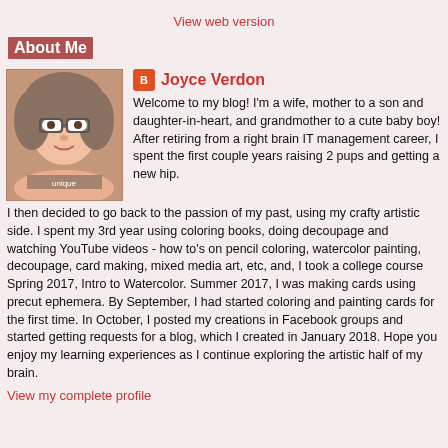View web version
About Me
[Figure (photo): Profile photo of Joyce Verdon - illustrated portrait of a woman with glasses and curly hair]
Joyce Verdon
Welcome to my blog! I'm a wife, mother to a son and daughter-in-heart, and grandmother to a cute baby boy! After retiring from a right brain IT management career, I spent the first couple years raising 2 pups and getting a new hip. I then decided to go back to the passion of my past, using my crafty artistic side. I spent my 3rd year using coloring books, doing decoupage and watching YouTube videos - how to's on pencil coloring, watercolor painting, decoupage, card making, mixed media art, etc, and, I took a college course Spring 2017, Intro to Watercolor. Summer 2017, I was making cards using precut ephemera. By September, I had started coloring and painting cards for the first time. In October, I posted my creations in Facebook groups and started getting requests for a blog, which I created in January 2018. Hope you enjoy my learning experiences as I continue exploring the artistic half of my brain.
View my complete profile